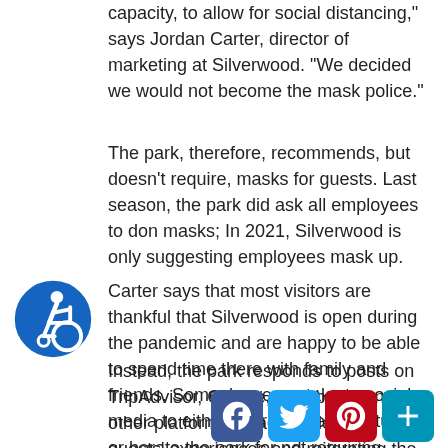capacity, to allow for social distancing," says Jordan Carter, director of marketing at Silverwood. "We decided we would not become the mask police."
The park, therefore, recommends, but doesn’t require, masks for guests. Last season, the park did ask all employees to don masks; In 2021, Silverwood is only suggesting employees mask up.
Carter says that most visitors are thankful that Silverwood is open during the pandemic and are happy to be able to spend time there with family and friends. Some, however, take to social media to either express their gratitude or berate the park for not requiring masks. “We don’t want to obviously be on one side or the other,” he adds. “We never want to get into a public argument with anybody.”
Instead, the park responds to posts on TripAdvisor, Google, Facebook, and other platforms by acknowledging guests’ experiences and reiterating the policies it has enacted to help including the placement of social